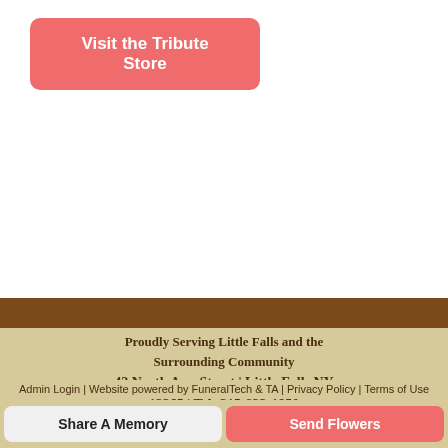Visit the Tribute Store
Proudly Serving Little Falls and the Surrounding Community
42 North Ann Street | Little Falls NY 13365 | Tel: 315-823-1950 | cmoserfh@gmail.com
Admin Login | Website powered by FuneralTech & TA | Privacy Policy | Terms of Use
Share A Memory
Send Flowers